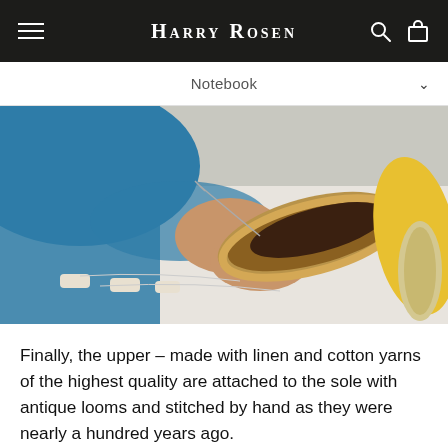Harry Rosen
Notebook
[Figure (photo): Close-up of a craftsperson's hands stitching the upper of an espadrille shoe to its sole, on a white work surface, with thread spools and a yellow insole visible nearby. The worker wears a blue garment.]
Finally, the upper – made with linen and cotton yarns of the highest quality are attached to the sole with antique looms and stitched by hand as they were nearly a hundred years ago.